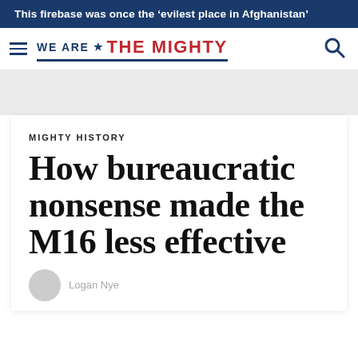This firebase was once the ‘evilest place in Afghanistan’
[Figure (logo): We Are The Mighty logo with hamburger menu and search icon]
MIGHTY HISTORY
How bureaucratic nonsense made the M16 less effective
Logan Nye